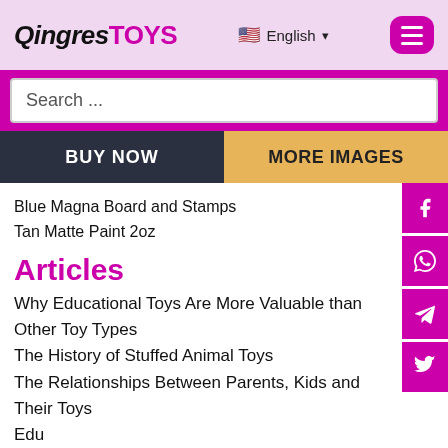[Figure (logo): QingresTOYS logo with 'Qingres' in black italic and 'TOYS' in magenta bold]
English ▾
[Figure (screenshot): Hamburger menu button in magenta rounded rectangle]
Search ...
BUY NOW
MORE IMAGES
Blue Magna Board and Stamps
Tan Matte Paint 2oz
Articles
Why Educational Toys Are More Valuable than Other Toy Types
The History of Stuffed Animal Toys
The Relationships Between Parents, Kids and Their Toys
Edu...
GET IT NOW